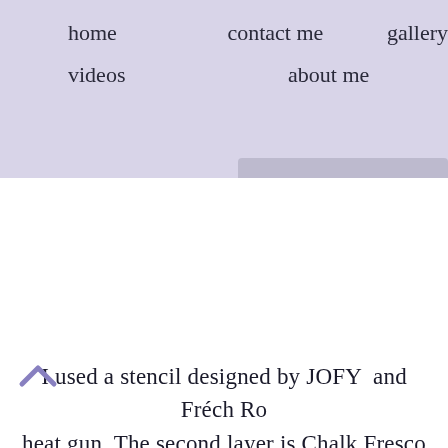home   contact me   gallery
videos   about me
I used a stencil designed by JOFY and French Roc heat gun. The second layer is Chalk Fresco Acrylic a technique) learnt from Leandra herself from Paper